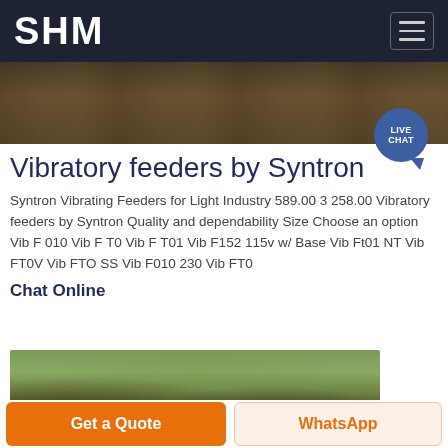SHM
[Figure (photo): Top banner photo showing industrial machinery or equipment, dark brown tones with overhead lighting]
Vibratory feeders by Syntron
Syntron Vibrating Feeders for Light Industry 589.00 3 258.00 Vibratory feeders by Syntron Quality and dependability Size Choose an option Vib F 010 Vib F T0 Vib F T01 Vib F152 115v w/ Base Vib Ft01 NT Vib FT0V Vib FTO SS Vib F010 230 Vib FT0
Chat Online
[Figure (photo): Outdoor industrial scene with mining or crushing equipment, mountains in background, green vegetation visible]
Get a Quote
WhatsApp